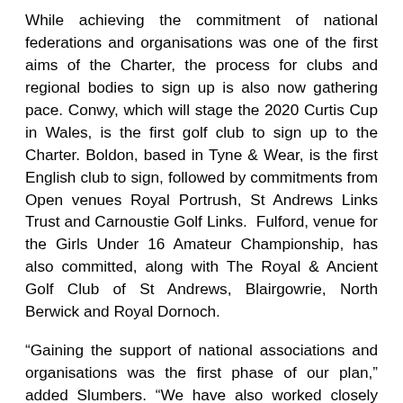While achieving the commitment of national federations and organisations was one of the first aims of the Charter, the process for clubs and regional bodies to sign up is also now gathering pace. Conwy, which will stage the 2020 Curtis Cup in Wales, is the first golf club to sign up to the Charter. Boldon, based in Tyne & Wear, is the first English club to sign, followed by commitments from Open venues Royal Portrush, St Andrews Links Trust and Carnoustie Golf Links. Fulford, venue for the Girls Under 16 Amateur Championship, has also committed, along with The Royal & Ancient Golf Club of St Andrews, Blairgowrie, North Berwick and Royal Dornoch.
“Gaining the support of national associations and organisations was the first phase of our plan,” added Slumbers. “We have also worked closely with them to collectively agree a process to support individual clubs in adopting the Charter and gain real momentum. The national body is the point of